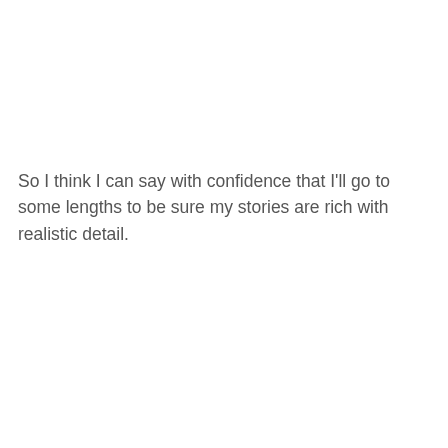So I think I can say with confidence that I'll go to some lengths to be sure my stories are rich with realistic detail.